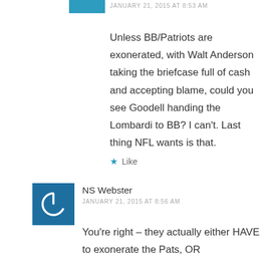JANUARY 21, 2015 AT 8:53 AM
Unless BB/Patriots are exonerated, with Walt Anderson taking the briefcase full of cash and accepting blame, could you see Goodell handing the Lombardi to BB? I can't. Last thing NFL wants is that.
Like
NS Webster
JANUARY 21, 2015 AT 8:56 AM
You're right – they actually either HAVE to exonerate the Pats, OR